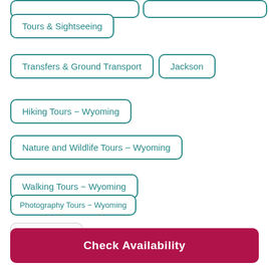Tours & Sightseeing
Transfers & Ground Transport
Jackson
Hiking Tours - Wyoming
Nature and Wildlife Tours - Wyoming
Walking Tours - Wyoming
Photography Tours - Wyoming
Category
Check Availability